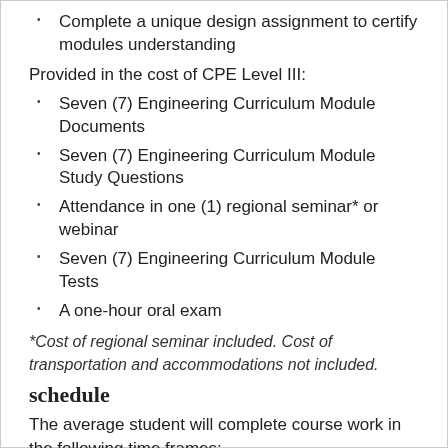Complete a unique design assignment to certify modules understanding
Provided in the cost of CPE Level III:
Seven (7) Engineering Curriculum Module Documents
Seven (7) Engineering Curriculum Module Study Questions
Attendance in one (1) regional seminar* or webinar
Seven (7) Engineering Curriculum Module Tests
A one-hour oral exam
*Cost of regional seminar included. Cost of transportation and accommodations not included.
schedule
The average student will complete course work in the following time frames: